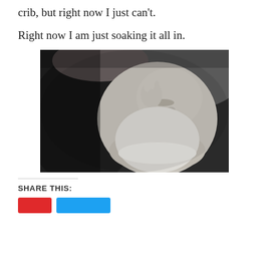crib, but right now I just can't.
Right now I am just soaking it all in.
[Figure (photo): Black and white photo of a sleeping baby being held by an adult. The baby's eyes are closed, one hand raised near its face, wearing a white outfit. The adult's hands and arms are visible cradling the infant.]
SHARE THIS:
[Share buttons: red button, blue button]